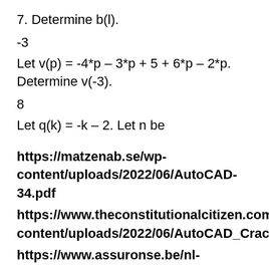7. Determine b(l).
-3
Let v(p) = -4*p – 3*p + 5 + 6*p – 2*p. Determine v(-3).
8
Let q(k) = -k – 2. Let n be
https://matzenab.se/wp-content/uploads/2022/06/AutoCAD-34.pdf
https://www.theconstitutionalcitizen.com/wp-content/uploads/2022/06/AutoCAD_Crack__Registration_Code.pdf
https://www.assuronse.be/nl-